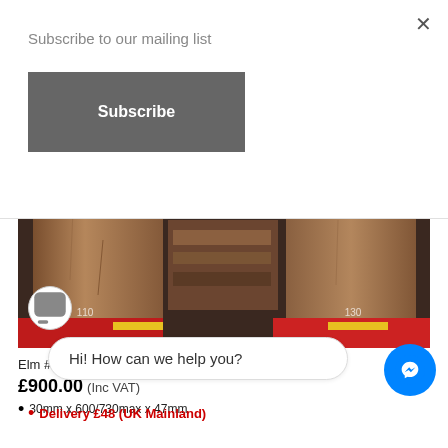Subscribe to our mailing list
Subscribe
[Figure (photo): Book matched pair of elm wood slabs stacked vertically, showing natural wood grain, with red shelving/pallet visible at bottom. Numbers '110' and '130' visible on the wood.]
Elm #0050 Book Matched Pair
£900.00 (Inc VAT)
30mm x 600/730max x 47mm
Hi! How can we help you?
Delivery £48 (UK Mainland)